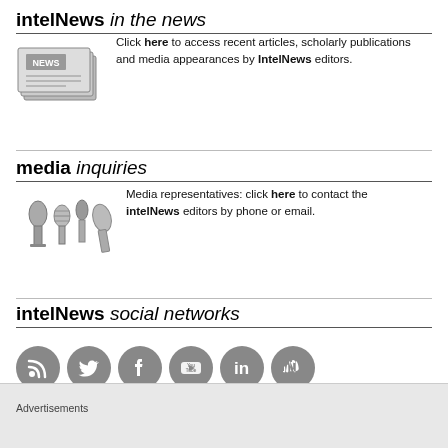intelNews in the news
[Figure (illustration): Stack of newspapers with 'NEWS' label on them]
Click here to access recent articles, scholarly publications and media appearances by IntelNews editors.
media inquiries
[Figure (illustration): Several microphones of different sizes grouped together]
Media representatives: click here to contact the intelNews editors by phone or email.
intelNews social networks
[Figure (illustration): Six gray circular social network icons: RSS, Twitter, Facebook, YouTube, LinkedIn, SoundCloud]
Advertisements